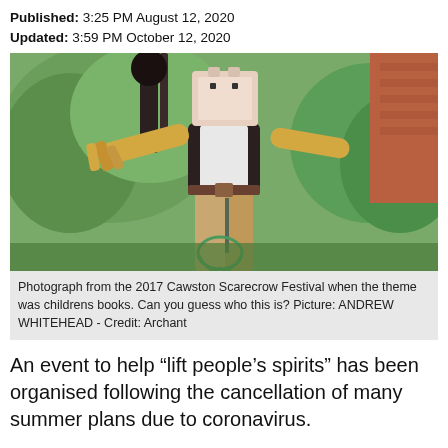Published: 3:25 PM August 12, 2020
Updated: 3:59 PM October 12, 2020
[Figure (photo): Photograph of a scarecrow from the 2017 Cawston Scarecrow Festival, themed around children's books. The scarecrow has a box-shaped head with a pink/white paper bag, straw arms, wears a dark vest and tan trousers, and holds a green net. It stands in front of trees and a brick wall.]
Photograph from the 2017 Cawston Scarecrow Festival when the theme was childrens books. Can you guess who this is? Picture: ANDREW WHITEHEAD - Credit: Archant
An event to help “lift people’s spirits” has been organised following the cancellation of many summer plans due to coronavirus.